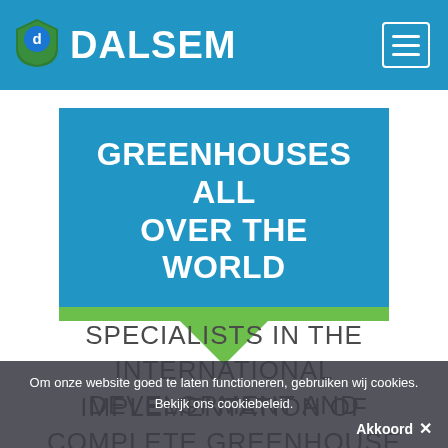DALSEM
[Figure (logo): Dalsem shield logo with green and blue colors and letter D]
GREENHOUSES ALL OVER THE WORLD
SPECIALISTS IN THE INTERNATIONAL DEVELOPMENT AND IMPLEMENTATION OF COMPLETE GREENHOUSE
Om onze website goed te laten functioneren, gebruiken wij cookies.
Bekijk ons cookiebeleid.
Akkoord ✕